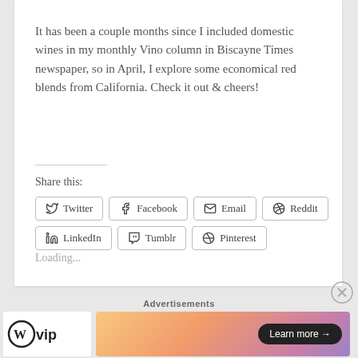It has been a couple months since I included domestic wines in my monthly Vino column in Biscayne Times newspaper, so in April, I explore some economical red blends from California. Check it out & cheers!
Share this:
Twitter  Facebook  Email  Reddit  LinkedIn  Tumblr  Pinterest
Loading...
Advertisements
[Figure (logo): WordPress VIP logo with W icon and 'vip' text]
[Figure (infographic): Colorful gradient ad banner with 'Learn more →' button]